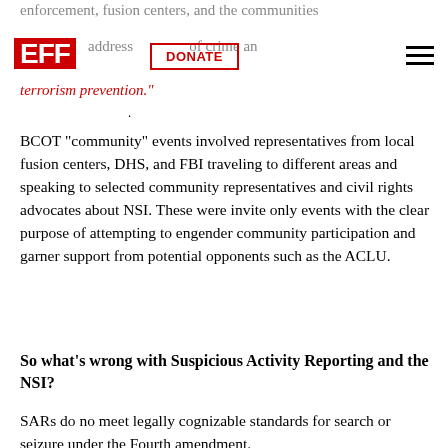enforcement, fusion centers, and the communities address the threat of crime and terrorism prevention."
BCOT "community" events involved representatives from local fusion centers, DHS, and FBI traveling to different areas and speaking to selected community representatives and civil rights advocates about NSI. These were invite only events with the clear purpose of attempting to engender community participation and garner support from potential opponents such as the ACLU.
So what's wrong with Suspicious Activity Reporting and the NSI?
SARs do no meet legally cognizable standards for search or seizure under the Fourth amendment.